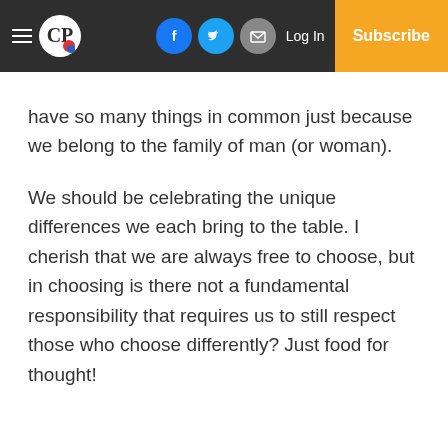CP | Log In | Subscribe
have so many things in common just because we belong to the family of man (or woman).
We should be celebrating the unique differences we each bring to the table. I cherish that we are always free to choose, but in choosing is there not a fundamental responsibility that requires us to still respect those who choose differently? Just food for thought!